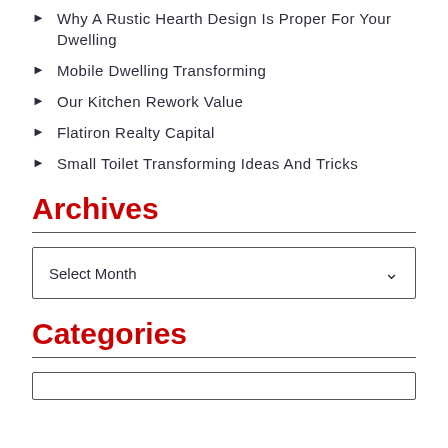Why A Rustic Hearth Design Is Proper For Your Dwelling
Mobile Dwelling Transforming
Our Kitchen Rework Value
Flatiron Realty Capital
Small Toilet Transforming Ideas And Tricks
Archives
Select Month
Categories